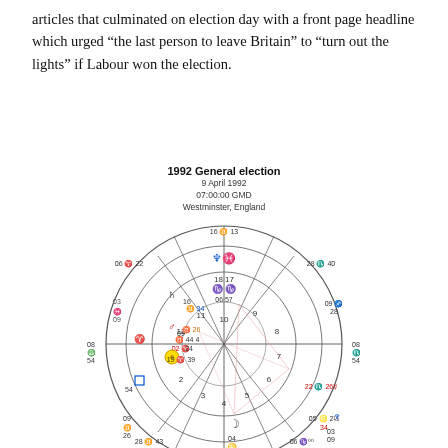articles that culminated on election day with a front page headline which urged “the last person to leave Britain” to “turn out the lights” if Labour won the election.
[Figure (other): Astrological natal chart for the 1992 General election, 9 April 1992, 07:00:00 GMD, Westminster, England. A circular wheel divided into 12 houses with zodiac signs, planetary symbols, and degree notations around the outer ring and inside the houses. Aspects (lines) drawn between planets across the center.]